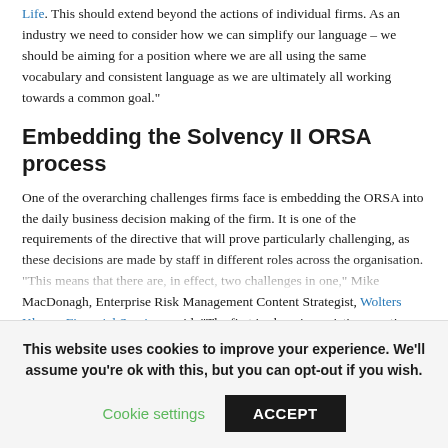Life. This should extend beyond the actions of individual firms. As an industry we need to consider how we can simplify our language – we should be aiming for a position where we are all using the same vocabulary and consistent language as we are ultimately all working towards a common goal."
Embedding the Solvency II ORSA process
One of the overarching challenges firms face is embedding the ORSA into the daily business decision making of the firm. It is one of the requirements of the directive that will prove particularly challenging, as these decisions are made by staff in different roles across the organisation.
“This means that there are, in effect, two challenges in one,” Mike MacDonagh, Enterprise Risk Management Content Strategist, Wolters Kluwer Financial Services, said. “The first is changing existing practices and mindsets to include an appraisal of the risk and solvency
This website uses cookies to improve your experience. We'll assume you're ok with this, but you can opt-out if you wish.
Cookie settings    ACCEPT